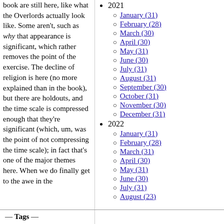book are still here, like what the Overlords actually look like. Some aren't, such as why that appearance is significant, which rather removes the point of the exercise. The decline of religion is here (no more explained than in the book), but there are holdouts, and the time scale is compressed enough that they're significant (which, um, was the point of not compressing the time scale); in fact that's one of the major themes here. When we do finally get to the awe in the
2021
January (31)
February (28)
March (30)
April (30)
May (31)
June (30)
July (31)
August (31)
September (30)
October (31)
November (30)
December (31)
2022
January (31)
February (28)
March (31)
April (30)
May (31)
June (30)
July (31)
August (23)
Tags